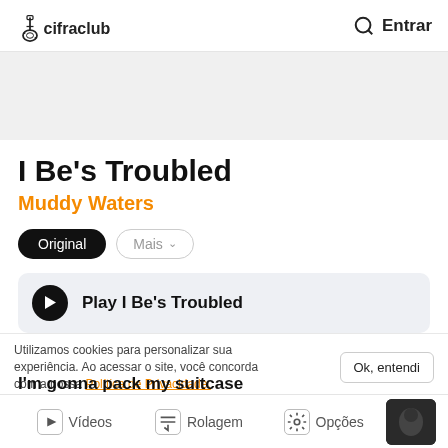cifraclub — Entrar
[Figure (other): Gray advertisement/banner area]
I Be's Troubled
Muddy Waters
Original  Mais
Play I Be's Troubled
Utilizamos cookies para personalizar sua experiência. Ao acessar o site, você concorda com a nossa Política de Privacidade.  Ok, entendi
Well I'll see tomorrow
Vídeos  Rolagem  Opções
I'm gonna pack my suitcase